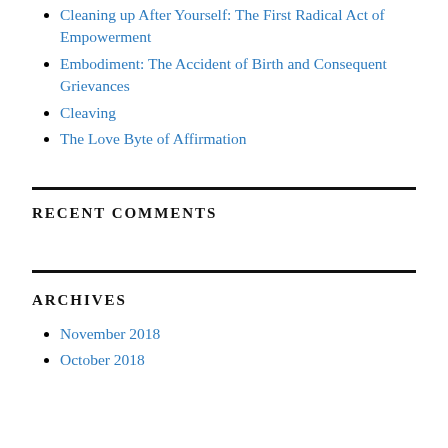Cleaning up After Yourself: The First Radical Act of Empowerment
Embodiment: The Accident of Birth and Consequent Grievances
Cleaving
The Love Byte of Affirmation
RECENT COMMENTS
ARCHIVES
November 2018
October 2018